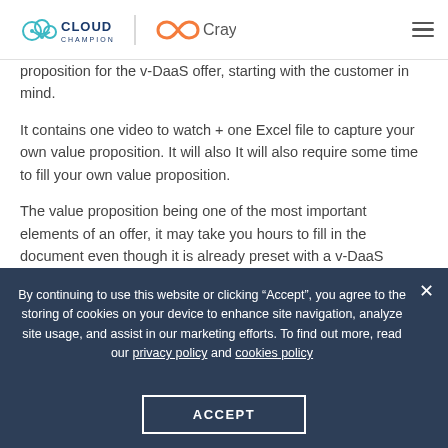[Figure (logo): Cloud Champion and Crayon logos in header, with hamburger menu icon on the right]
proposition for the v-DaaS offer, starting with the customer in mind.
It contains one video to watch + one Excel file to capture your own value proposition. It will also It will also require some time to fill your own value proposition.
The value proposition being one of the most important elements of an offer, it may take you hours to fill in the document even though it is already preset with a v-DaaS example.
By continuing to use this website or clicking “Accept”, you agree to the storing of cookies on your device to enhance site navigation, analyze site usage, and assist in our marketing efforts. To find out more, read our privacy policy and cookies policy